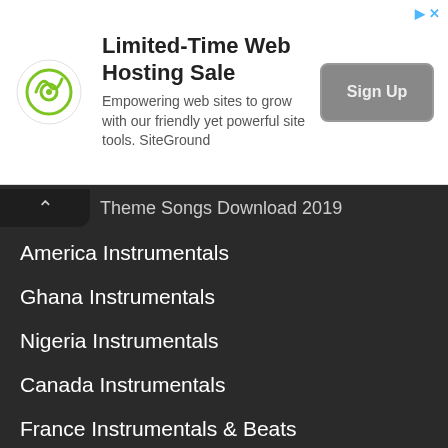[Figure (screenshot): SiteGround web hosting advertisement banner with logo, headline 'Limited-Time Web Hosting Sale', subtitle text, and a Sign Up button]
Theme Songs Download 2019
America Instrumentals
Ghana Instrumentals
Nigeria Instrumentals
Canada Instrumentals
France Instrumentals & Beats
Uk Instrumentals
South Africa Instrumentals